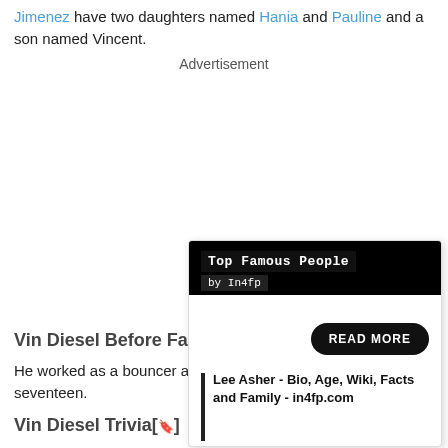Jimenez have two daughters named Hania and Pauline and a son named Vincent.
Advertisement
Vin Diesel Before Fame[
He worked as a bouncer at seventeen.
Vin Diesel Trivia[🔖]
[Figure (infographic): Overlay card for Top Famous People by In4fp, with a READ MORE button and a link to 'Lee Asher - Bio, Age, Wiki, Facts and Family - in4fp.com']